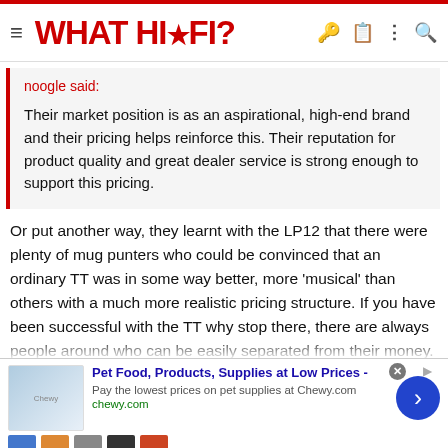WHAT HI·FI?
noogle said:

Their market position is as an aspirational, high-end brand and their pricing helps reinforce this. Their reputation for product quality and great dealer service is strong enough to support this pricing.
Or put another way, they learnt with the LP12 that there were plenty of mug punters who could be convinced that an ordinary TT was in some way better, more 'musical' than others with a much more realistic pricing structure. If you have been successful with the TT why stop there, there are always people around who can be easily separated from their money.
I might be wrong but I believe that the 'musicality' was down to spinning the platter faster than the proper speed. It never
[Figure (screenshot): Advertisement for Chewy.com pet food and supplies with 'Pet Food, Products, Supplies at Low Prices - Pay the lowest prices on pet supplies at Chewy.com']